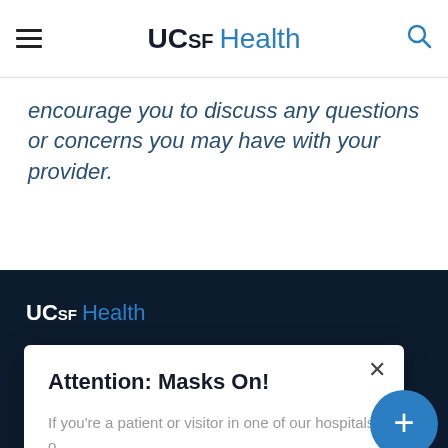UCSF Health
encourage you to discuss any questions or concerns you may have with your provider.
[Figure (logo): UCSF Health logo in footer, white and blue text on dark navy background]
Attention: Masks On!
If you're a patient or visitor in one of our hospitals or clinics, you're required to wear a mask indoors.